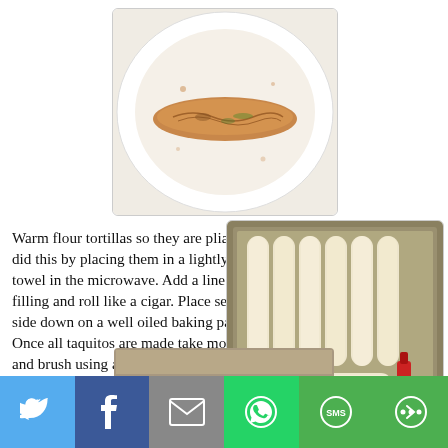[Figure (photo): A flour tortilla on a white plate with a line of filling (shredded chicken or fish mixture) placed in the center, ready to be rolled into a taquito.]
Warm flour tortillas so they are pliable.  I did this by placing them in a lightly damp towel in the microwave. Add a line of filling and roll like a cigar. Place seam side down on a well oiled baking pan.  Once all taquitos are made take more oil and brush using a pastry brush.
[Figure (photo): Multiple rolled taquitos placed seam-side down on a metal baking sheet, with a red pastry brush visible on the right side.]
[Figure (photo): Partial view of another food photo at the bottom of the page, cut off.]
Twitter | Facebook | Email | WhatsApp | SMS | More social sharing buttons